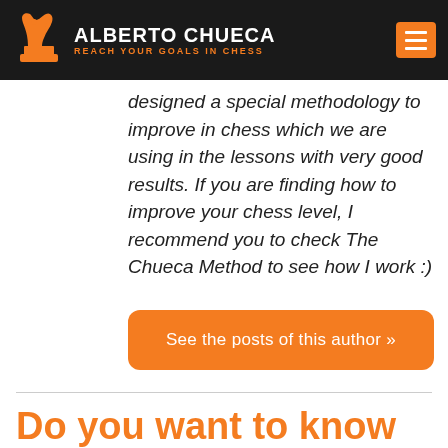ALBERTO CHUECA — REACH YOUR GOALS IN CHESS
designed a special methodology to improve in chess which we are using in the lessons with very good results. If you are finding how to improve your chess level, I recommend you to check The Chueca Method to see how I work :)
See the posts of this author »
Do you want to know